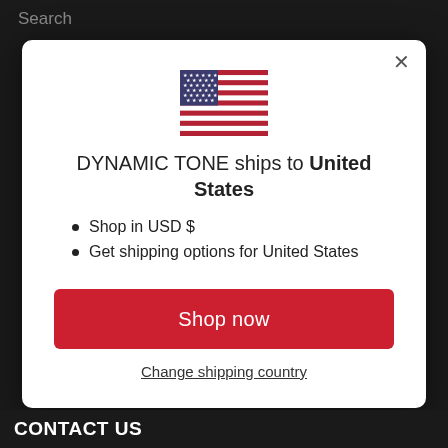Search
[Figure (illustration): US flag SVG illustration]
DYNAMIC TONE ships to United States
Shop in USD $
Get shipping options for United States
Shop now
Change shipping country
CONTACT US